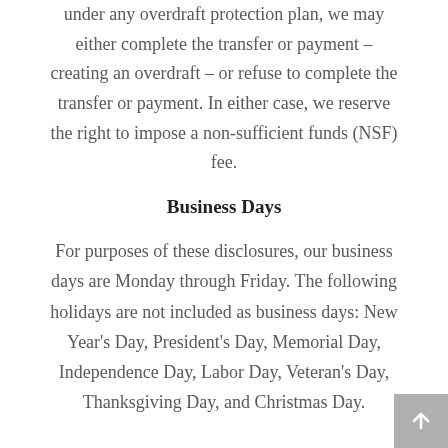under any overdraft protection plan, we may either complete the transfer or payment – creating an overdraft – or refuse to complete the transfer or payment. In either case, we reserve the right to impose a non-sufficient funds (NSF) fee.
Business Days
For purposes of these disclosures, our business days are Monday through Friday. The following holidays are not included as business days: New Year's Day, President's Day, Memorial Day, Independence Day, Labor Day, Veteran's Day, Thanksgiving Day, and Christmas Day.